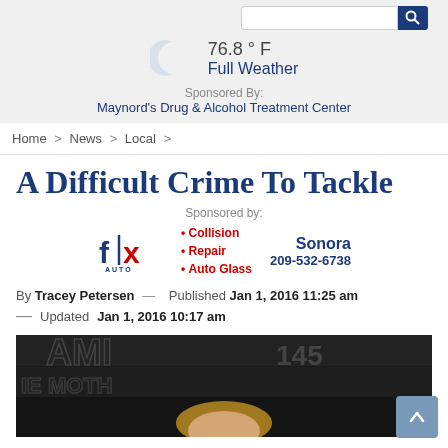76.8 °F Full Weather
Sponsored By:
Maynord's Drug & Alcohol Treatment Center
Home > News > Local >
A Difficult Crime To Tackle
Sponsored by:
[Figure (logo): Fix Auto Sonora advertisement: Fix Auto logo with bullet points: Collision, Repair, Auto Glass. Sonora 209-532-6738]
By Tracey Petersen — Published Jan 1, 2016 11:25 am
— Updated Jan 1, 2016 10:17 am
[Figure (photo): Partial photo of a person with blonde hair in front of a marquee with lights spelling letters, number 145 visible in top right]